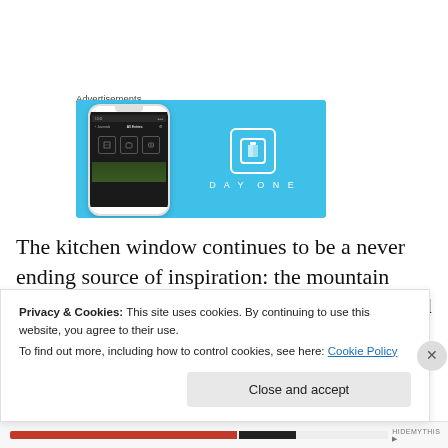Advertisements
[Figure (screenshot): DayOne app advertisement banner with blue background showing a smartphone mockup on the left and the DayOne logo (book icon) with text 'DAYONE' on the right]
The kitchen window continues to be a never ending source of inspiration: the mountain appears and disappears throughout the day, and I can at least make
Privacy & Cookies: This site uses cookies. By continuing to use this website, you agree to their use.
To find out more, including how to control cookies, see here: Cookie Policy
Close and accept